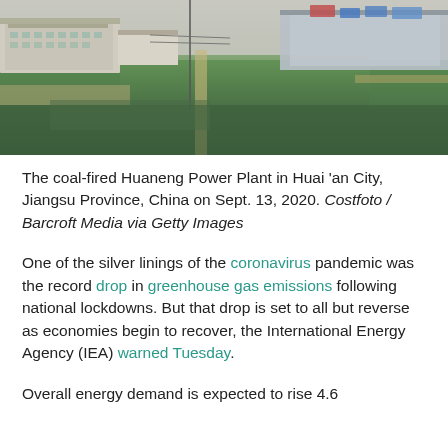[Figure (photo): Aerial view of the coal-fired Huaneng Power Plant in Huai'an City, Jiangsu Province, China, showing industrial buildings and surrounding green fields.]
The coal-fired Huaneng Power Plant in Huai 'an City, Jiangsu Province, China on Sept. 13, 2020. Costfoto / Barcroft Media via Getty Images
One of the silver linings of the coronavirus pandemic was the record drop in greenhouse gas emissions following national lockdowns. But that drop is set to all but reverse as economies begin to recover, the International Energy Agency (IEA) warned Tuesday.
Overall energy demand is expected to rise 4.6